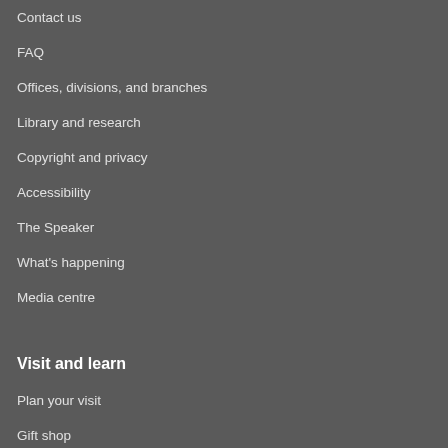Contact us
FAQ
Offices, divisions, and branches
Library and research
Copyright and privacy
Accessibility
The Speaker
What's happening
Media centre
Visit and learn
Plan your visit
Gift shop